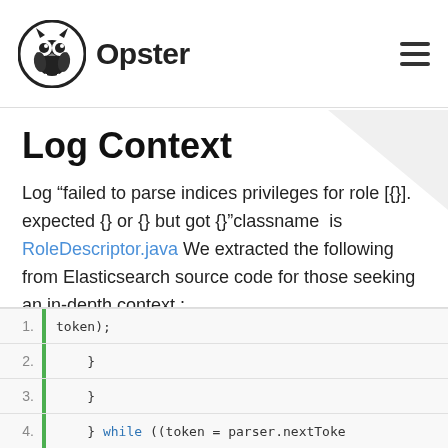Opster
Log Context
Log “failed to parse indices privileges for role [{}]. expected {} or {} but got {}” classname is RoleDescriptor.java We extracted the following from Elasticsearch source code for those seeking an in-depth context :
[Figure (screenshot): Code block showing lines 1-4: 1. token); 2. } 3. } 4. } while ((token = parser.nextToke]